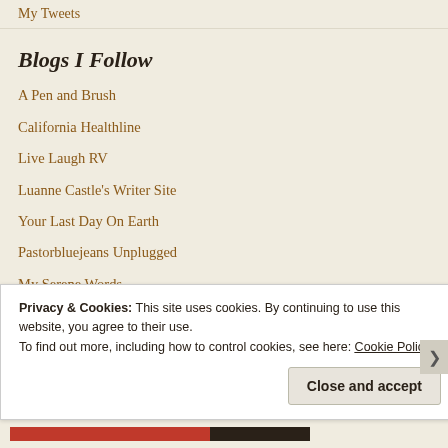My Tweets
Blogs I Follow
A Pen and Brush
California Healthline
Live Laugh RV
Luanne Castle's Writer Site
Your Last Day On Earth
Pastorbluejeans Unplugged
My Serene Words
Privacy & Cookies: This site uses cookies. By continuing to use this website, you agree to their use.
To find out more, including how to control cookies, see here: Cookie Policy
Close and accept